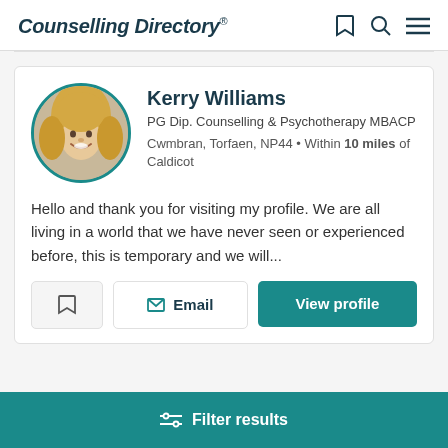Counselling Directory
Kerry Williams
PG Dip. Counselling & Psychotherapy MBACP
Cwmbran, Torfaen, NP44 • Within 10 miles of Caldicot
Hello and thank you for visiting my profile. We are all living in a world that we have never seen or experienced before, this is temporary and we will...
Email
View profile
Filter results